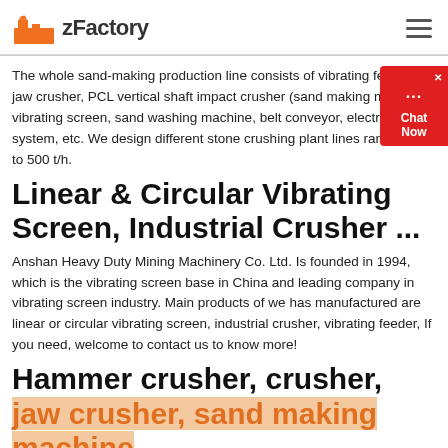zFactory
The whole sand-making production line consists of vibrating feeder, jaw crusher, PCL vertical shaft impact crusher (sand making machine), vibrating screen, sand washing machine, belt conveyor, electric control system, etc. We design different stone crushing plant lines ranging 50 to 500 t/h.
Linear & Circular Vibrating Screen, Industrial Crusher ...
Anshan Heavy Duty Mining Machinery Co. Ltd. Is founded in 1994, which is the vibrating screen base in China and leading company in vibrating screen industry. Main products of we has manufactured are linear or circular vibrating screen, industrial crusher, vibrating feeder, If you need, welcome to contact us to know more!
Hammer crusher, crusher, jaw crusher, sand making machine